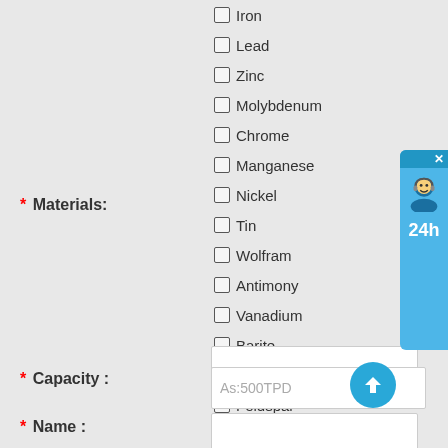Iron
Lead
Zinc
Molybdenum
Chrome
Manganese
Nickel
Tin
Wolfram
Antimony
Vanadium
Barite
Fluorite
Feldspar
Graphite
Zircon
other
* Materials:
* Capacity :
* Name :